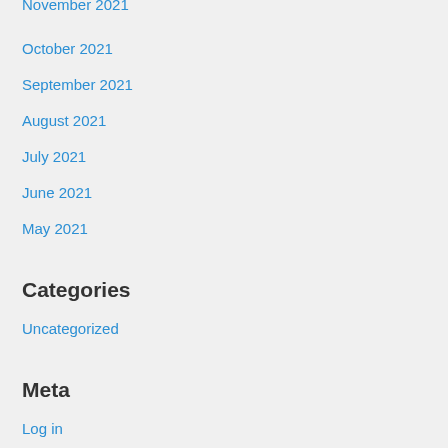October 2021
September 2021
August 2021
July 2021
June 2021
May 2021
Categories
Uncategorized
Meta
Log in
Entries feed